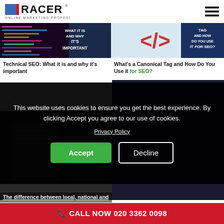[Figure (logo): RACER Online Marketing Professionals logo with blue square and red bar]
[Figure (photo): Technical SEO article thumbnail - code on dark background with overlay text WHAT IT IS AND WHY IT'S IMPORTANT]
[Figure (photo): Canonical Tag article thumbnail - HTML bracket symbol on blue background with overlay text TAG AND HOW DO YOU USE IT FOR SEO?]
Technical SEO: What it is and why it's important
What's a Canonical Tag and How Do You Use it for SEO?
This website uses cookies to ensure you get the best experience. By clicking Accept you agree to our use of cookies.
Privacy Policy
Accept
Decline
The difference between local, national and
📞 CALL NOW 020 3362 0098